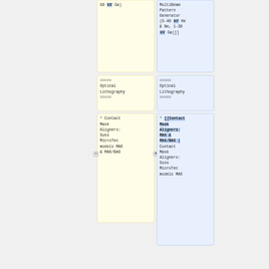50 kV Ga)
MultiBeam Pattern Generator (5-40 kV He & Ne, 1-30 kV Ga)]]
===== Optical Lithography =====
===== Optical Lithography =====
* Contact Mask Aligners: Suss MicroTec models MA6 & MA6/BA6
* [[Contact Mask Aligners: MA6 & MA6/BA6 | Contact Mask Aligners: Suss MicroTec models MA6